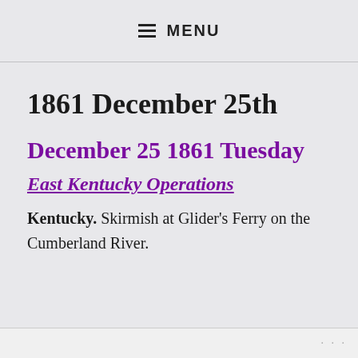≡ MENU
1861 December 25th
December 25 1861 Tuesday
East Kentucky Operations
Kentucky. Skirmish at Glider's Ferry on the Cumberland River.
···